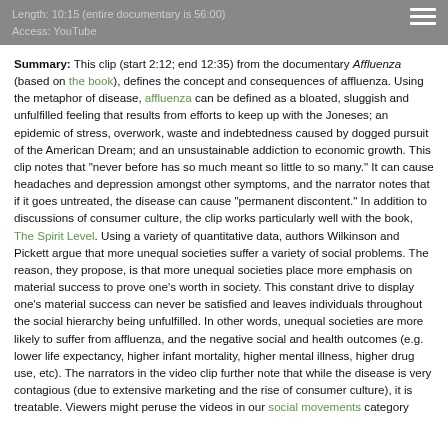Length: 10:15 (entire documentary is 56:00)
Access: YouTube
Summary: This clip (start 2:12; end 12:35) from the documentary Affluenza (based on the book), defines the concept and consequences of affluenza. Using the metaphor of disease, affluenza can be defined as a bloated, sluggish and unfulfilled feeling that results from efforts to keep up with the Joneses; an epidemic of stress, overwork, waste and indebtedness caused by dogged pursuit of the American Dream; and an unsustainable addiction to economic growth. This clip notes that "never before has so much meant so little to so many." It can cause headaches and depression amongst other symptoms, and the narrator notes that if it goes untreated, the disease can cause "permanent discontent." In addition to discussions of consumer culture, the clip works particularly well with the book, The Spirit Level. Using a variety of quantitative data, authors Wilkinson and Pickett argue that more unequal societies suffer a variety of social problems. The reason, they propose, is that more unequal societies place more emphasis on material success to prove one's worth in society. This constant drive to display one's material success can never be satisfied and leaves individuals throughout the social hierarchy being unfulfilled. In other words, unequal societies are more likely to suffer from affluenza, and the negative social and health outcomes (e.g. lower life expectancy, higher infant mortality, higher mental illness, higher drug use, etc). The narrators in the video clip further note that while the disease is very contagious (due to extensive marketing and the rise of consumer culture), it is treatable. Viewers might peruse the videos in our social movements category